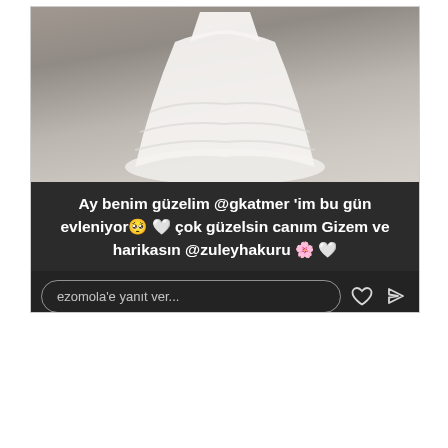[Figure (screenshot): Instagram story screenshot showing a bride in a white wedding dress from behind/below, with a dark overlay text box. Text reads: 'Ay benim güzelim @gkatmer 'im bu gün evleniyor 🥺 🤍 çok güzelsin canım Gizem ve harikasın @zuleyhakuru 🌸 🤍'. Below is a reply input bar reading 'ezomola'e yanıt ver...' with heart and send icons.]